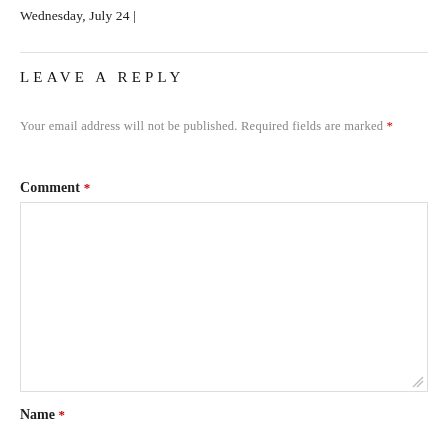Wednesday, July 24 |
LEAVE A REPLY
Your email address will not be published. Required fields are marked *
Comment *
Name *